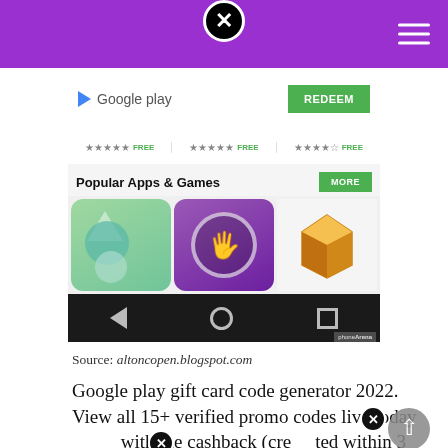[Figure (screenshot): Screenshot of Google Play Store showing 'Popular Apps & Games' section with a REDEEM button, star ratings with FREE labels, app icons row, and Android navigation bar]
Source: altoncopen.blogspot.com
Google play gift card code generator 2022. View all 15+ verified promo codes live today with the cashback (created within 3 working